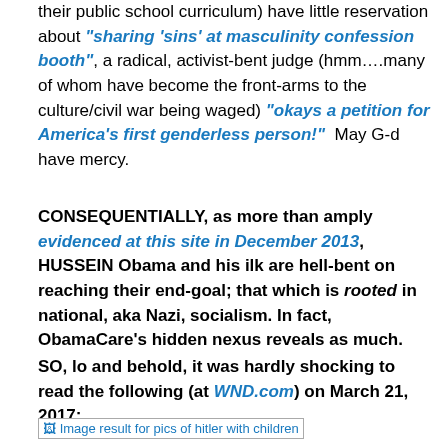their public school curriculum) have little reservation about "sharing 'sins' at masculinity confession booth", a radical, activist-bent judge (hmm….many of whom have become the front-arms to the culture/civil war being waged) "okays a petition for America's first genderless person!"  May G-d have mercy.
CONSEQUENTIALLY, as more than amply evidenced at this site in December 2013, HUSSEIN Obama and his ilk are hell-bent on reaching their end-goal; that which is rooted in national, aka Nazi, socialism. In fact, ObamaCare's hidden nexus reveals as much.
SO, lo and behold, it was hardly shocking to read the following (at WND.com) on March 21, 2017:
[Figure (photo): Broken image placeholder with alt text: Image result for pics of hitler with children]